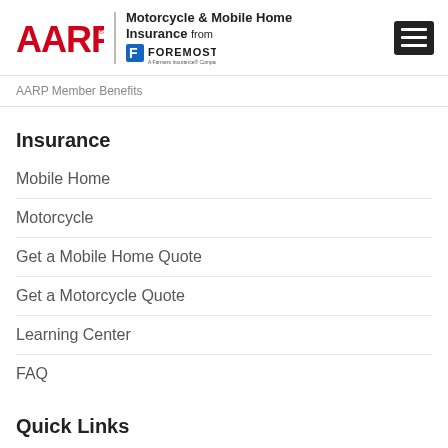[Figure (logo): AARP logo with Motorcycle & Mobile Home Insurance from Foremost branding and hamburger menu icon]
AARP Member Benefits
Insurance
Mobile Home
Motorcycle
Get a Mobile Home Quote
Get a Motorcycle Quote
Learning Center
FAQ
Quick Links
Contact Us
Pay Bill
Report A Claim